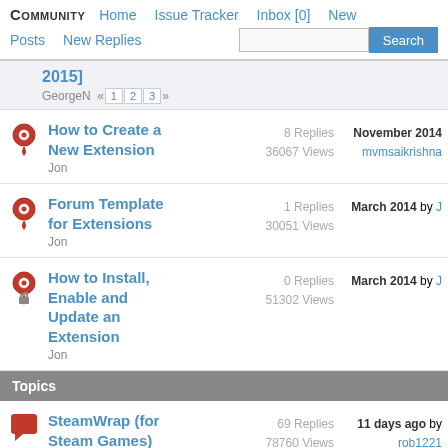COMMUNITY  Home  Issue Tracker  Inbox [0]  New  Posts  New Replies  Search
2015]
GeorgeN « 1 2 3 »
How to Create a New Extension
Jon
8 Replies 36067 Views
November 2014 mvmsaikrishna
Forum Template for Extensions
Jon
1 Replies 30051 Views
March 2014 by J
How to Install, Enable and Update an Extension
Jon
0 Replies 51302 Views
March 2014 by J
Topics
SteamWrap (for Steam Games)
69 Replies 78760 Views
11 days ago by rob1221